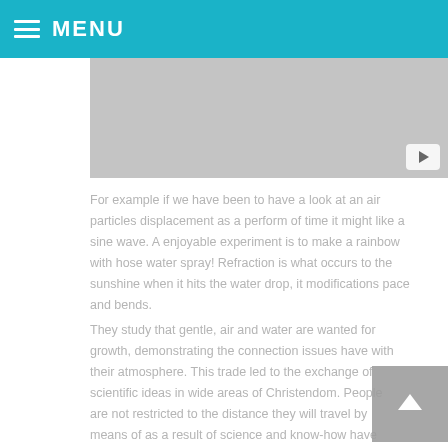MENU
[Figure (screenshot): Video placeholder with play button, gray background]
For example if we have been to have a look at an air particles displacement as a perform of time it might like a sine wave. A enjoyable experiment is to make a rainbow with hose water spray! Refraction is what occurs to the sunshine when it hits the water drop, it modifications pace and bends.
They study that gentle, air and water are wanted for growth, demonstrating the connection issues have with their atmosphere. This trade led to the exchange of scientific ideas in wide areas of Christendom. People are not restricted to the distance they will travel by means of as a result of science and know-how have made that potential.